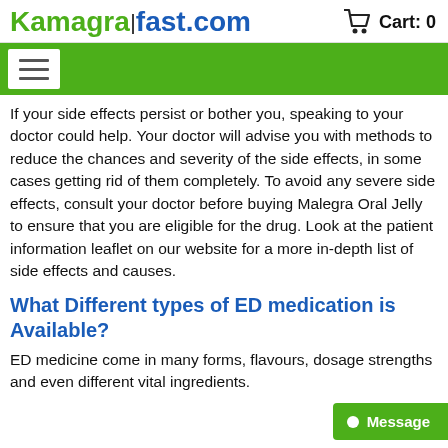Kamagra fast.com  Cart: 0
[Figure (other): Green navigation bar with white hamburger menu icon on left]
If your side effects persist or bother you, speaking to your doctor could help. Your doctor will advise you with methods to reduce the chances and severity of the side effects, in some cases getting rid of them completely. To avoid any severe side effects, consult your doctor before buying Malegra Oral Jelly to ensure that you are eligible for the drug. Look at the patient information leaflet on our website for a more in-depth list of side effects and causes.
What Different types of ED medication is Available?
ED medicine come in many forms, flavours, dosage strengths and even different vital ingredients.